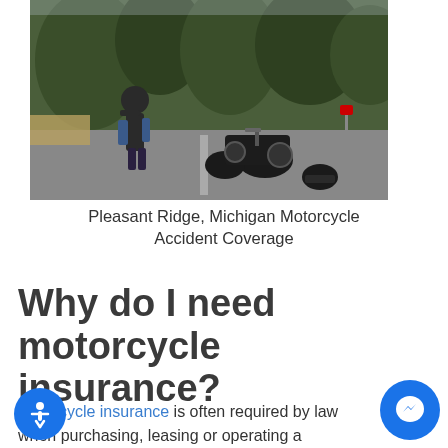[Figure (photo): A person standing on a road next to a fallen motorcycle, talking on a phone. Trees visible in background, a helmet on the ground near the motorcycle.]
Pleasant Ridge, Michigan Motorcycle Accident Coverage
Why do I need motorcycle insurance?
Motorcycle insurance is often required by law when purchasing, leasing or operating a motorcycle. Even if it's not mandatory in your